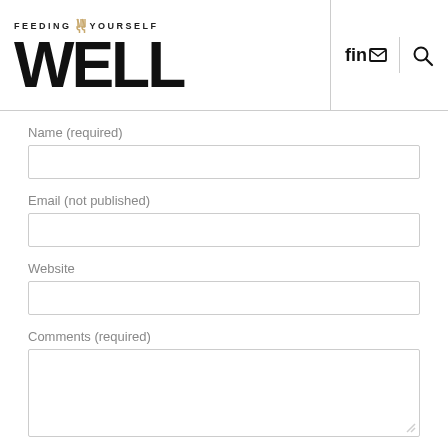FEEDING YOURSELF WELL
Name (required)
Email (not published)
Website
Comments (required)
Notify me of new comments to this post by email